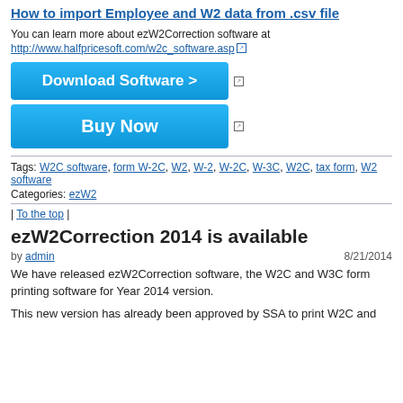How to import Employee and W2 data from .csv file
You can learn more about ezW2Correction software at http://www.halfpricesoft.com/w2c_software.asp
[Figure (other): Download Software > button (blue)]
[Figure (other): Buy Now button (blue)]
Tags: W2C software, form W-2C, W2, W-2, W-2C, W-3C, W2C, tax form, W2 software
Categories: ezW2
| To the top |
ezW2Correction 2014 is available
by admin   8/21/2014
We have released ezW2Correction software, the W2C and W3C form printing software for Year 2014 version.
This new version has already been approved by SSA to print W2C and